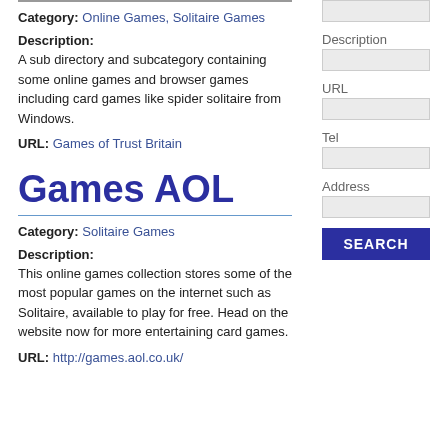Category: Online Games, Solitaire Games
Description: A sub directory and subcategory containing some online games and browser games including card games like spider solitaire from Windows.
URL: Games of Trust Britain
Games AOL
Category: Solitaire Games
Description: This online games collection stores some of the most popular games on the internet such as Solitaire, available to play for free. Head on the website now for more entertaining card games.
URL: http://games.aol.co.uk/
Description
URL
Tel
Address
SEARCH